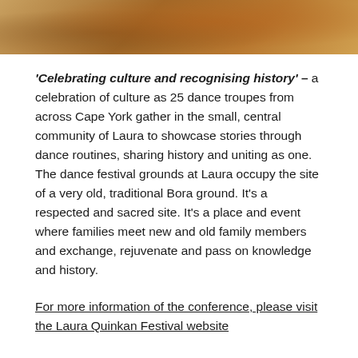[Figure (photo): Partial photo showing people in traditional/colourful dress at a cultural dance festival, warm earthy tones]
'Celebrating culture and recognising history' – a celebration of culture as 25 dance troupes from across Cape York gather in the small, central community of Laura to showcase stories through dance routines, sharing history and uniting as one. The dance festival grounds at Laura occupy the site of a very old, traditional Bora ground. It's a respected and sacred site. It's a place and event where families meet new and old family members and exchange, rejuvenate and pass on knowledge and history.
For more information of the conference, please visit the Laura Quinkan Festival website